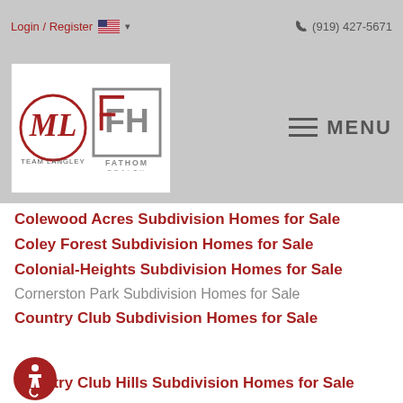Login / Register   🇺🇸 ▾   ☎ (919) 427-5671
[Figure (logo): Team Langley / Fathom Realty logo and MENU navigation bar]
Colewood Acres Subdivision Homes for Sale
Coley Forest Subdivision Homes for Sale
Colonial-Heights Subdivision Homes for Sale
Cornerston Park Subdivision Homes for Sale
Country Club Subdivision Homes for Sale
Country Club Hills Subdivision Homes for Sale